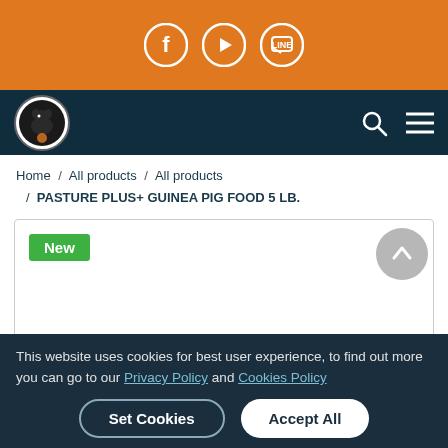Social media icons: Facebook, YouTube, LINE
[Figure (logo): Website navigation bar with logo (dog silhouette in circle), search icon, and hamburger menu on dark teal background]
Home / All products / All products / PASTURE PLUS+ GUINEA PIG FOOD 5 LB.
[Figure (other): Product card area with green 'New' badge in top-left corner, white background]
This website uses cookies for best user experience, to find out more you can go to our Privacy Policy and Cookies Policy
Set Cookies   Accept All